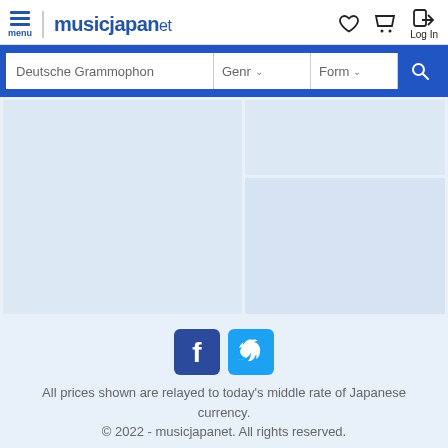musicjapanet
[Figure (screenshot): Search bar with text input 'Deutsche Grammophon', Genre dropdown, Format dropdown, and search button]
[Figure (screenshot): Content grid area with three placeholder panels on light blue background]
[Figure (screenshot): Social media icons for Facebook and Twitter]
All prices shown are relayed to today's middle rate of Japanese currency.
© 2022 - musicjapanet. All rights reserved.